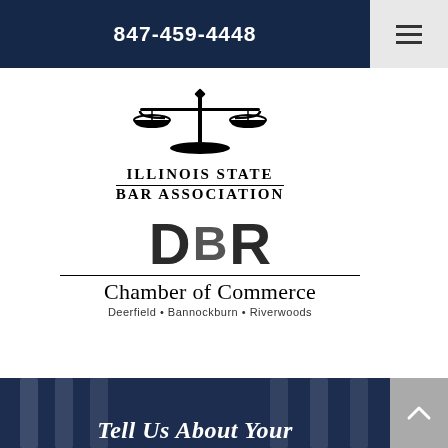847-459-4448
[Figure (logo): Illinois State Bar Association scales of justice logo with text ILLINOIS STATE BAR ASSOCIATION]
[Figure (logo): DBR Chamber of Commerce logo - Deerfield, Bannockburn, Riverwoods]
Tell Us About Your